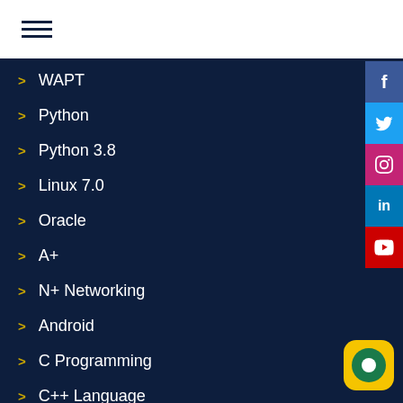[Figure (other): Hamburger menu icon with three horizontal lines]
WAPT
Python
Python 3.8
Linux 7.0
Oracle
A+
N+ Networking
Android
C Programming
C++ Language
[Figure (other): Social media sidebar icons: Facebook, Twitter, Instagram, LinkedIn, YouTube]
[Figure (other): Live chat button: yellow rounded square with green circle]